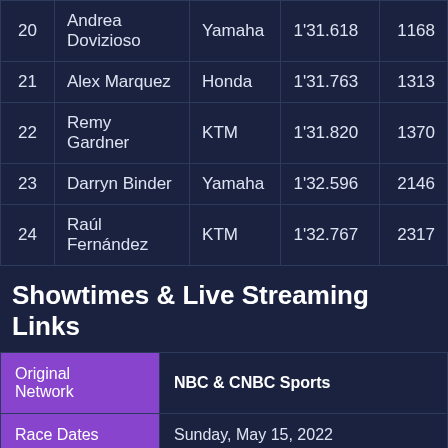| # | Rider | Bike | Time | Pts |
| --- | --- | --- | --- | --- |
| 20 | Andrea Dovizioso | Yamaha | 1'31.618 | 1168 |
| 21 | Alex Marquez | Honda | 1'31.763 | 1313 |
| 22 | Remy Gardner | KTM | 1'31.820 | 1370 |
| 23 | Darryn Binder | Yamaha | 1'32.596 | 2146 |
| 24 | Raúl Fernández | KTM | 1'32.767 | 2317 |
Showtimes & Live Streaming Links
|  |  |
| --- | --- |
| Original Network | NBC & CNBC Sports |
| Race Dates | Sunday, May 15, 2022 |
| Racing Hours | 08:00 EDT |
| Series | 7 |